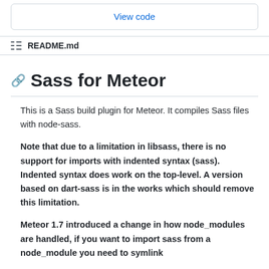View code
README.md
Sass for Meteor
This is a Sass build plugin for Meteor. It compiles Sass files with node-sass.
Note that due to a limitation in libsass, there is no support for imports with indented syntax (sass). Indented syntax does work on the top-level. A version based on dart-sass is in the works which should remove this limitation.
Meteor 1.7 introduced a change in how node_modules are handled, if you want to import sass from a node_module you need to symlink